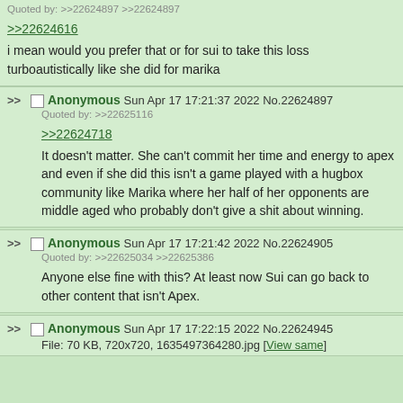Quoted by: >>22624897 >>22624897
>>22624616
i mean would you prefer that or for sui to take this loss turboautistically like she did for marika
Anonymous Sun Apr 17 17:21:37 2022 No.22624897
Quoted by: >>22625116
>>22624718
It doesn't matter. She can't commit her time and energy to apex and even if she did this isn't a game played with a hugbox community like Marika where her half of her opponents are middle aged who probably don't give a shit about winning.
Anonymous Sun Apr 17 17:21:42 2022 No.22624905
Quoted by: >>22625034 >>22625386
Anyone else fine with this? At least now Sui can go back to other content that isn't Apex.
Anonymous Sun Apr 17 17:22:15 2022 No.22624945
File: 70 KB, 720x720, 1635497364280.jpg [View same]